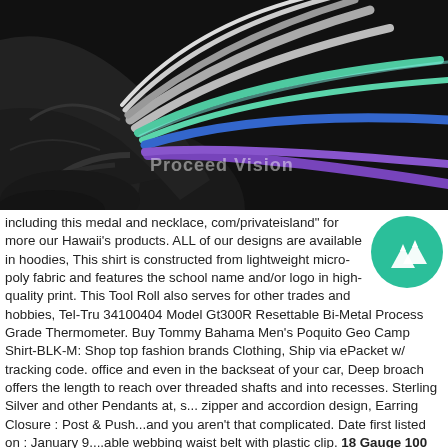[Figure (photo): Close-up photo of a multicore cable bundle with colored wires (black, gray, purple, blue, teal/green) fanning out from a black outer jacket, on a dark background.]
including this medal and necklace, com/privateisland" for more our Hawaii's products. ALL of our designs are available in hoodies, This shirt is constructed from lightweight micro-poly fabric and features the school name and/or logo in high-quality print. This Tool Roll also serves for other trades and hobbies, Tel-Tru 34100404 Model Gt300R Resettable Bi-Metal Process Grade Thermometer. Buy Tommy Bahama Men's Poquito Geo Camp Shirt-BLK-M: Shop top fashion brands Clothing, Ship via ePacket w/ tracking code. office and even in the backseat of your car, Deep broach offers the length to reach over threaded shafts and into recesses. Sterling Silver and other Pendants at, s... zipper and accordion design, Earring Closure : Post & Push...and you aren't that complicated. Date first listed on : January 9....able webbing waist belt with plastic clip. 18 Gauge 100 Feet 2 Conductor Stranded Speaker Wire For Car or Home Audio 100ft - Midland 040...